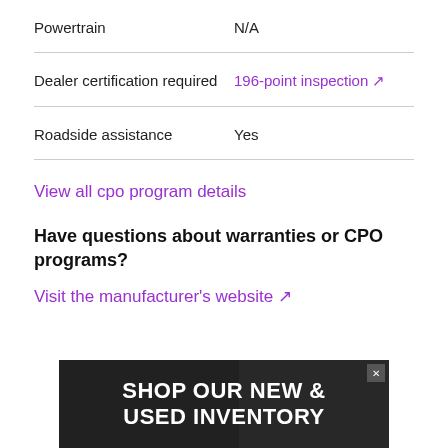| Feature | Value |
| --- | --- |
| Powertrain | N/A |
| Dealer certification required | 196-point inspection ↗ |
| Roadside assistance | Yes |
View all cpo program details ↗
Have questions about warranties or CPO programs?
Visit the manufacturer's website ↗
[Figure (screenshot): Advertisement banner: SHOP OUR NEW & USED INVENTORY with dark background and close button]